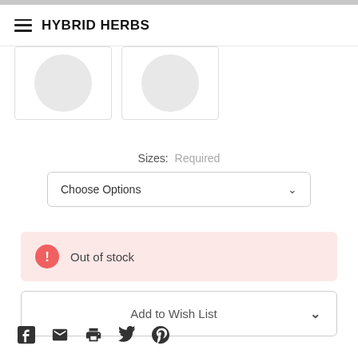HYBRID HERBS
[Figure (screenshot): Two product thumbnail images with light gray circular placeholder graphics inside bordered boxes]
Sizes: Required
Choose Options
Out of stock
Add to Wish List
[Figure (infographic): Social sharing icons: Facebook, Email, Print, Twitter, Pinterest]